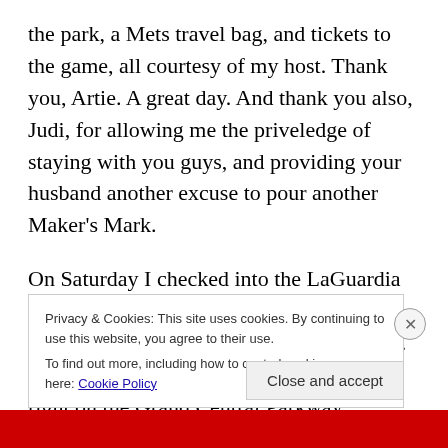the park, a Mets travel bag, and tickets to the game, all courtesy of my host. Thank you, Artie. A great day. And thank you also, Judi, for allowing me the priveledge of staying with you guys, and providing your husband another excuse to pour another Maker's Mark.
On Saturday I checked into the LaGuardia Marriott, near the wedding. It was, as you might expect by the name, near the airport. You couldn't get much closer. It was also right on the Grand Central Parkway, overlooking it and the construction in and around the airport. Luckily, I was on
Privacy & Cookies: This site uses cookies. By continuing to use this website, you agree to their use.
To find out more, including how to control cookies, see here: Cookie Policy
Close and accept